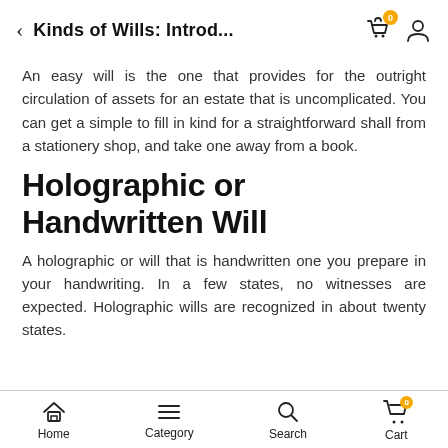Kinds of Wills: Introd...
An easy will is the one that provides for the outright circulation of assets for an estate that is uncomplicated. You can get a simple to fill in kind for a straightforward shall from a stationery shop, and take one away from a book.
Holographic or Handwritten Will
A holographic or will that is handwritten one you prepare in your handwriting. In a few states, no witnesses are expected. Holographic wills are recognized in about twenty states.
Home  Category  Search  Cart